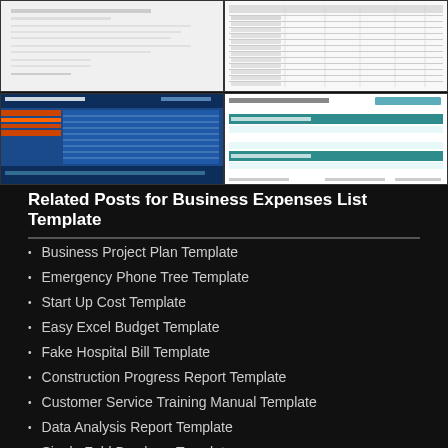[Figure (screenshot): Top-left thumbnail: white document, likely a form or letter template]
[Figure (screenshot): Top-right thumbnail: white spreadsheet with tabular data rows and columns showing financial figures]
[Figure (screenshot): Bottom-left thumbnail: blue/dark spreadsheet template labeled 'Company Notes' with data tables]
[Figure (screenshot): Bottom-right thumbnail: white 'Business Expense Template' from Smartsheet with teal header rows]
Related Posts for Business Expenses List Template
Business Project Plan Template
Emergency Phone Tree Template
Start Up Cost Template
Easy Excel Budget Template
Fake Hospital Bill Template
Construction Progress Report Template
Customer Service Training Manual Template
Data Analysis Report Template
Single Fold Brochure Template
New Employee Training Plan Template